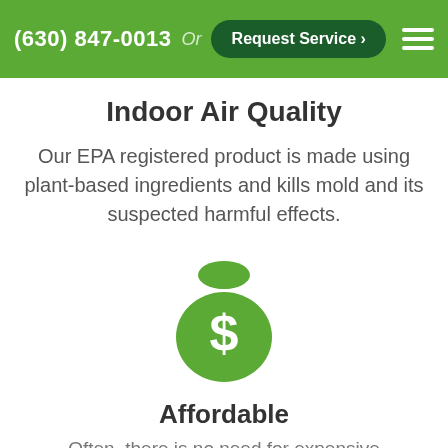(630) 847-0013  Or  Request Service >
Indoor Air Quality
Our EPA registered product is made using plant-based ingredients and kills mold and its suspected harmful effects.
[Figure (illustration): Green money bag icon with a dollar sign on it]
Affordable
Often, there is no need for expensive